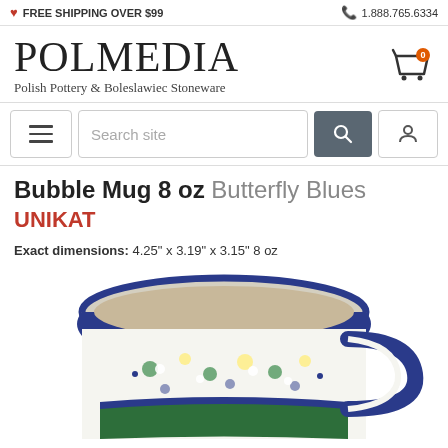FREE SHIPPING OVER $99 | 1.888.765.6334
POLMEDIA
Polish Pottery & Boleslawiec Stoneware
Search site
Bubble Mug 8 oz Butterfly Blues UNIKAT
Exact dimensions: 4.25" x 3.19" x 3.15" 8 oz
[Figure (photo): A Polish pottery bubble mug with blue and green floral Butterfly Blues Unikat pattern, viewed from above and slightly to the side, showing the interior and handle.]